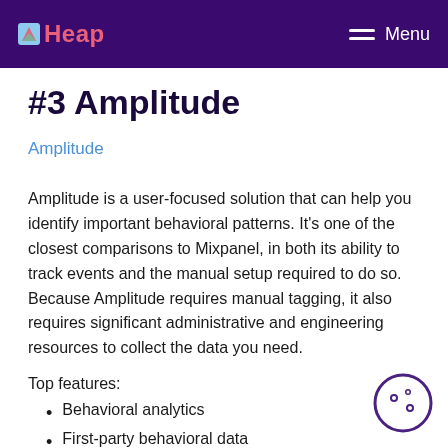Heap  Menu
#3 Amplitude
Amplitude
Amplitude is a user-focused solution that can help you identify important behavioral patterns. It's one of the closest comparisons to Mixpanel, in both its ability to track events and the manual setup required to do so. Because Amplitude requires manual tagging, it also requires significant administrative and engineering resources to collect the data you need.
Top features:
Behavioral analytics
First-party behavioral data
Customizable data structure